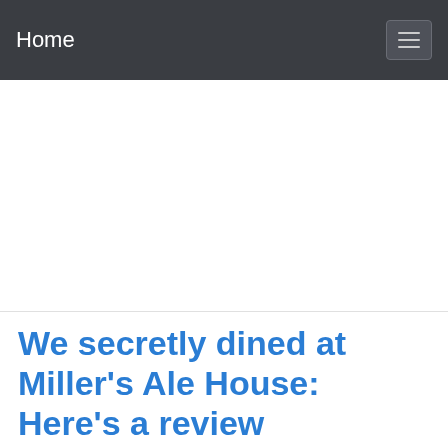Home
[Figure (other): Advertisement / blank white area below navigation bar]
We secretly dined at Miller's Ale House: Here's a review
If you're looking for a place to watch the upcoming NFL playoffs or Monday's college national championship game, you might want to consider Miller's Ale House